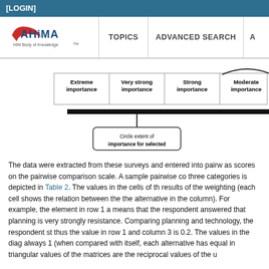[LOGIN]
[Figure (schematic): Navigation bar with AHIMA HIM Body of Knowledge logo, TOPICS, ADVANCED SEARCH, and another partially visible menu item]
[Figure (infographic): Pairwise comparison scale showing columns: Extreme importance, Very strong importance, Strong importance, Moderate importance (partially visible). A horizontal bar with a vertical line drops down to a rounded rectangle reading 'Circle extent of importance for selected'.]
The data were extracted from these surveys and entered into pairwise as scores on the pairwise comparison scale. A sample pairwise co three categories is depicted in Table 2. The values in the cells of th results of the weighting (each cell shows the relation between the the alternative in the column). For example, the element in row 1 a means that the respondent answered that planning is very strongly resistance. Comparing planning and technology, the respondent st thus the value in row 1 and column 3 is 0.2. The values in the diag always 1 (when compared with itself, each alternative has equal in triangular values of the matrices are the reciprocal values of the u